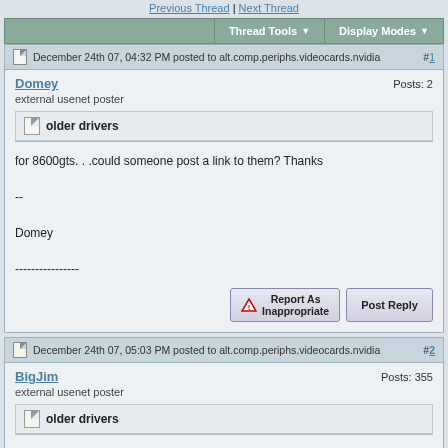Previous Thread | Next Thread
Thread Tools ▼   Display Modes ▼
December 24th 07, 04:32 PM posted to alt.comp.periphs.videocards.nvidia  #1
Domey  Posts: 2
external usenet poster
older drivers
for 8600gts. . .could someone post a link to them? Thanks

--

Domey

----------------
Report As Inappropriate   Post Reply
December 24th 07, 05:03 PM posted to alt.comp.periphs.videocards.nvidia  #2
BigJim  Posts: 355
external usenet poster
older drivers
the nvidia site should have them under archives